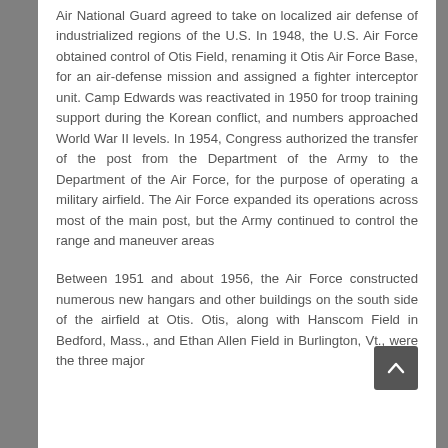Air National Guard agreed to take on localized air defense of industrialized regions of the U.S. In 1948, the U.S. Air Force obtained control of Otis Field, renaming it Otis Air Force Base, for an air-defense mission and assigned a fighter interceptor unit. Camp Edwards was reactivated in 1950 for troop training support during the Korean conflict, and numbers approached World War II levels. In 1954, Congress authorized the transfer of the post from the Department of the Army to the Department of the Air Force, for the purpose of operating a military airfield. The Air Force expanded its operations across most of the main post, but the Army continued to control the range and maneuver areas
Between 1951 and about 1956, the Air Force constructed numerous new hangars and other buildings on the south side of the airfield at Otis. Otis, along with Hanscom Field in Bedford, Mass., and Ethan Allen Field in Burlington, Vt., were the three major